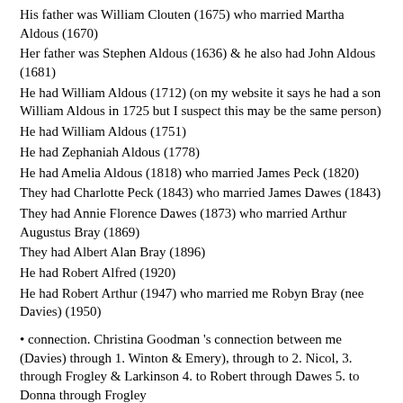His father was William Clouten (1675) who married Martha Aldous (1670)
Her father was Stephen Aldous (1636) & he also had John Aldous (1681)
He had William Aldous (1712) (on my website it says he had a son William Aldous in 1725 but I suspect this may be the same person)
He had William Aldous (1751)
He had Zephaniah Aldous (1778)
He had Amelia Aldous (1818) who married James Peck (1820)
They had Charlotte Peck (1843) who married James Dawes (1843)
They had Annie Florence Dawes (1873) who married Arthur Augustus Bray (1869)
They had Albert Alan Bray (1896)
He had Robert Alfred (1920)
He had Robert Arthur (1947) who married me Robyn Bray (nee Davies) (1950)
• connection. Christina Goodman 's connection between me (Davies) through 1. Winton & Emery), through to 2. Nicol, 3. through Frogley & Larkinson 4. to Robert through Dawes 5. to Donna through Frogley
(1) My connection with Christina Goodman (through Winton & Emery) is as follows:
Christina Goodman . . .
Her Grandfather was . . .
Alan Waller (1901)
His father was George Waller (1860) & he also had William Waller (1887) who married May Jacobs (1887)
Her father was John Jacobs (1842) who married Elizabeth Bent ...